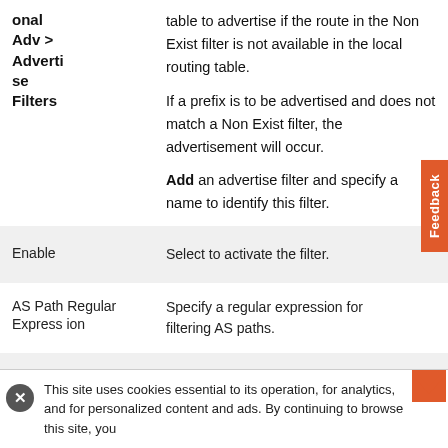| Field | Description |
| --- | --- |
| onal Adv > Advertise Filters | table to advertise if the route in the Non Exist filter is not available in the local routing table.

If a prefix is to be advertised and does not match a Non Exist filter, the advertisement will occur.

Add an advertise filter and specify a name to identify this filter. |
| Enable | Select to activate the filter. |
| AS Path Regular Expression | Specify a regular expression for filtering AS paths. |
| Community Regular Express | Specify a regular expression for filtering community strings. |
This site uses cookies essential to its operation, for analytics, and for personalized content and ads. By continuing to browse this site, you